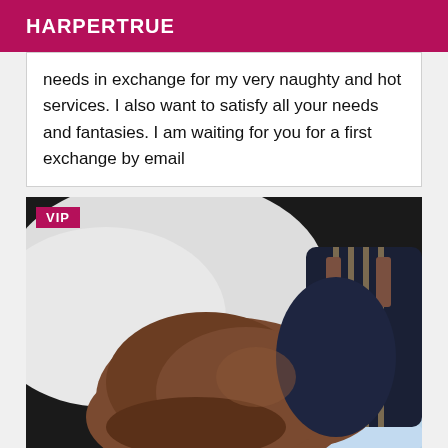HARPERTRUE
needs in exchange for my very naughty and hot services. I also want to satisfy all your needs and fantasies. I am waiting for you for a first exchange by email
[Figure (photo): VIP badge on a photo of a person wearing a dark strappy outfit on a bed with white and light blue bedding]